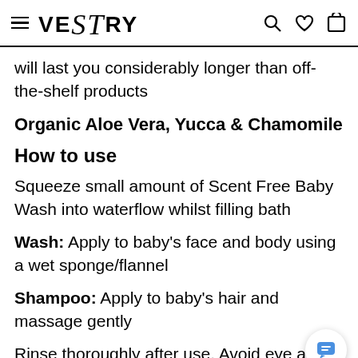VESTRY
will last you considerably longer than off-the-shelf products
Organic Aloe Vera, Yucca & Chamomile
How to use
Squeeze small amount of Scent Free Baby Wash into waterflow whilst filling bath
Wash: Apply to baby's face and body using a wet sponge/flannel
Shampoo: Apply to baby's hair and massage gently
Rinse thoroughly after use. Avoid eye area